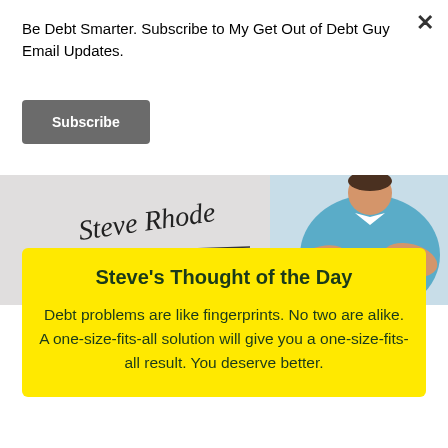Be Debt Smarter. Subscribe to My Get Out of Debt Guy Email Updates.
Subscribe
[Figure (illustration): Banner image showing a cursive signature 'Steve Rhode' on the left and a cartoon illustration of a person in a blue shirt on the right]
Steve's Thought of the Day
Debt problems are like fingerprints. No two are alike. A one-size-fits-all solution will give you a one-size-fits-all result. You deserve better.